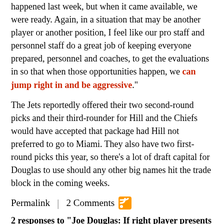happened last week, but when it came available, we were ready. Again, in a situation that may be another player or another position, I feel like our pro staff and personnel staff do a great job of keeping everyone prepared, personnel and coaches, to get the evaluations in so that when those opportunities happen, we can jump right in and be aggressive."
The Jets reportedly offered their two second-round picks and their third-rounder for Hill and the Chiefs would have accepted that package had Hill not preferred to go to Miami. They also have two first-round picks this year, so there’s a lot of draft capital for Douglas to use should any other big names hit the trade block in the coming weeks.
Permalink | 2 Comments
2 responses to “Joe Douglas: If right player presents himself, we’re going to strike”
Ponto60 says:
March 29, 2022 at 10:20 am